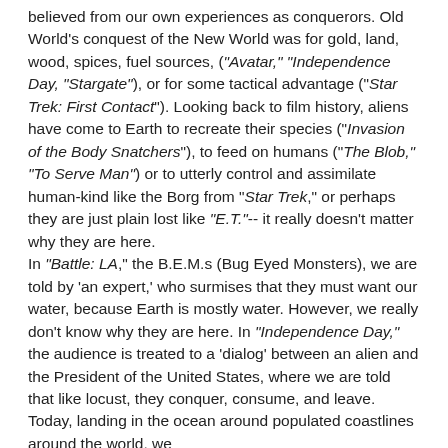believed from our own experiences as conquerors. Old World's conquest of the New World was for gold, land, wood, spices, fuel sources, ("Avatar," "Independence Day, "Stargate"), or for some tactical advantage ("Star Trek: First Contact"). Looking back to film history, aliens have come to Earth to recreate their species ("Invasion of the Body Snatchers"), to feed on humans ("The Blob," "To Serve Man") or to utterly control and assimilate human-kind like the Borg from "Star Trek," or perhaps they are just plain lost like "E.T."-- it really doesn't matter why they are here. In "Battle: LA," the B.E.M.s (Bug Eyed Monsters), we are told by 'an expert,' who surmises that they must want our water, because Earth is mostly water. However, we really don't know why they are here. In "Independence Day," the audience is treated to a 'dialog' between an alien and the President of the United States, where we are told that like locust, they conquer, consume, and leave. Today, landing in the ocean around populated coastlines around the world, we